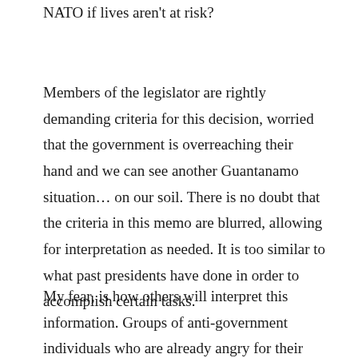fitting with Just War Theory. Does it go against the UN or NATO if lives aren't at risk?
Members of the legislator are rightly demanding criteria for this decision, worried that the government is overreaching their hand and we can see another Guantanamo situation… on our soil. There is no doubt that the criteria in this memo are blurred, allowing for interpretation as needed. It is too similar to what past presidents have done in order to accomplish certain tasks.
My fear, is how others will interpret this information. Groups of anti-government individuals who are already angry for their gun's honor believe that this is exactly the